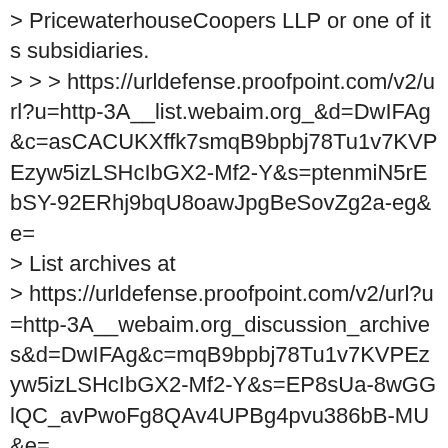> PricewaterhouseCoopers LLP or one of its subsidiaries.
> > > https://urldefense.proofpoint.com/v2/url?u=http-3A__list.webaim.org_&d=DwIFAg&c=asCACUKXffk7smqB9bpbj78Tu1v7KVPEzyw5izLSHcIbGX2-Mf2-Y&s=ptenmiN5rEbSY-92ERhj9bqU8oawJpgBeSovZg2a-eg&e=
> List archives at
> https://urldefense.proofpoint.com/v2/url?u=http-3A__webaim.org_discussion_archives&d=DwIFAg&c=mqB9bpbj78Tu1v7KVPEzyw5izLSHcIbGX2-Mf2-Y&s=EP8sUa-8wGGlQC_avPwoFg8QAv4UPBg4pvu386bB-MU&e=
> >